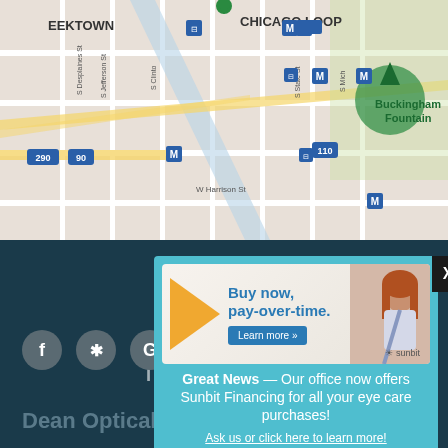[Figure (map): Google Maps view showing Chicago area including EEKTOWN, CHICAGO LOOP, Buckingham Fountain, W Harrison St, with transit icons (M for metro, bus icons), highway markers 290, 90, 110]
[Figure (screenshot): Advertisement modal overlay with teal background. Contains Sunbit ad banner: 'Buy now, pay-over-time.' with Learn more button, photo of red-haired woman, Sunbit logo. Below the ad: 'Great News — Our office now offers Sunbit Financing for all your eye care purchases!' and a link 'Ask us or click here to learn more!']
Great News — Our office now offers Sunbit Financing for all your eye care purchases!
Ask us or click here to learn more!
Dean Optical